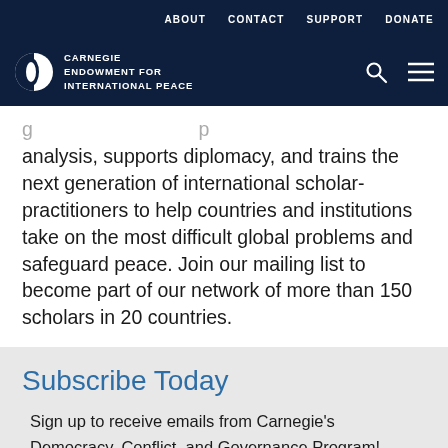ABOUT  CONTACT  SUPPORT  DONATE
[Figure (logo): Carnegie Endowment for International Peace logo with search and menu icons]
analysis, supports diplomacy, and trains the next generation of international scholar-practitioners to help countries and institutions take on the most difficult global problems and safeguard peace. Join our mailing list to become part of our network of more than 150 scholars in 20 countries.
Subscribe Today
Sign up to receive emails from Carnegie's Democracy, Conflict, and Governance Program!